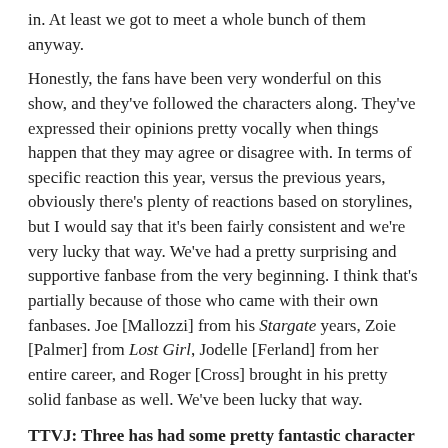in. At least we got to meet a whole bunch of them anyway.
Honestly, the fans have been very wonderful on this show, and they've followed the characters along. They've expressed their opinions pretty vocally when things happen that they may agree or disagree with. In terms of specific reaction this year, versus the previous years, obviously there's plenty of reactions based on storylines, but I would say that it's been fairly consistent and we're very lucky that way. We've had a pretty surprising and supportive fanbase from the very beginning. I think that's partially because of those who came with their own fanbases. Joe [Mallozzi] from his Stargate years, Zoie [Palmer] from Lost Girl, Jodelle [Ferland] from her entire career, and Roger [Cross] brought in his pretty solid fanbase as well. We've been lucky that way.
TTVJ: Three has had some pretty fantastic character moments this year. From your perspective, what is it that drives Three to be such a support system for the crew?
AL: I think everyone's a good support system in their own kind of way. Not sure what to say... Finn is Two [Melissa O'Neil it...